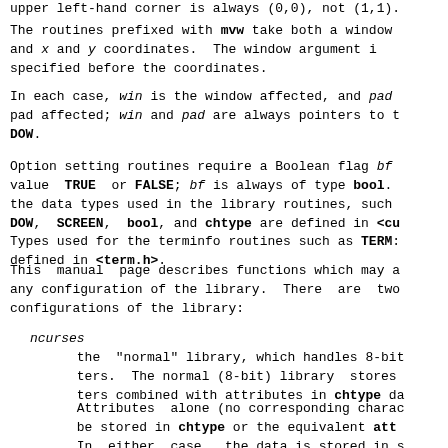upper left-hand corner is always (0,0), not (1,1).
The routines prefixed with mvw take both a window and x and y coordinates. The window argument is specified before the coordinates.
In each case, win is the window affected, and pad is the pad affected; win and pad are always pointers to WINDOW or DOW.
Option setting routines require a Boolean flag bf value TRUE or FALSE; bf is always of type bool. the data types used in the library routines, such DOW, SCREEN, bool, and chtype are defined in <cu Types used for the terminfo routines such as TERM: defined in <term.h>.
This manual page describes functions which may a any configuration of the library. There are two configurations of the library:
ncurses
    the "normal" library, which handles 8-bit ters. The normal (8-bit) library stores ters combined with attributes in chtype da
Attributes alone (no corresponding charac be stored in chtype or the equivalent att In either case, the data is stored in s like an integer.